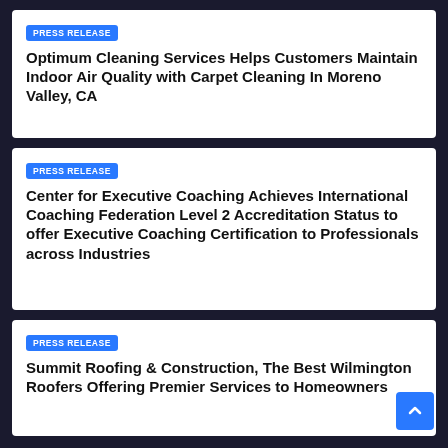PRESS RELEASE
Optimum Cleaning Services Helps Customers Maintain Indoor Air Quality with Carpet Cleaning In Moreno Valley, CA
PRESS RELEASE
Center for Executive Coaching Achieves International Coaching Federation Level 2 Accreditation Status to offer Executive Coaching Certification to Professionals across Industries
PRESS RELEASE
Summit Roofing & Construction, The Best Wilmington Roofers Offering Premier Services to Homeowners